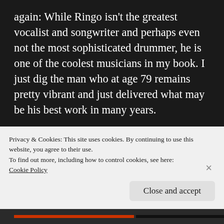again: While Ringo isn't the greatest vocalist and songwriter and perhaps even not the most sophisticated drummer, he is one of the coolest musicians in my book. I just dig the man who at age 79 remains pretty vibrant and just delivered what may be his best work in many years.
Appearing on UMe, What's My Name was produced by Starr, with longtime collaborator Bruce Sugar handling recording
Privacy & Cookies: This site uses cookies. By continuing to use this website, you agree to their use.
To find out more, including how to control cookies, see here:
Cookie Policy
Close and accept